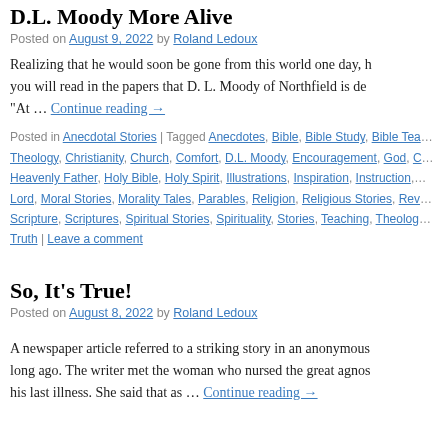D.L. Moody More Alive
Posted on August 9, 2022 by Roland Ledoux
Realizing that he would soon be gone from this world one day, he would read in the papers that D. L. Moody of Northfield is de…“At … Continue reading →
Posted in Anecdotal Stories | Tagged Anecdotes, Bible, Bible Study, Bible Tea…Theology, Christianity, Church, Comfort, D.L. Moody, Encouragement, God, C…Heavenly Father, Holy Bible, Holy Spirit, Illustrations, Inspiration, Instruction,…Lord, Moral Stories, Morality Tales, Parables, Religion, Religious Stories, Rev…Scripture, Scriptures, Spiritual Stories, Spirituality, Stories, Teaching, Theolog…Truth | Leave a comment
So, It’s True!
Posted on August 8, 2022 by Roland Ledoux
A newspaper article referred to a striking story in an anonymous…long ago. The writer met the woman who nursed the great agnos…his last illness. She said that as … Continue reading →